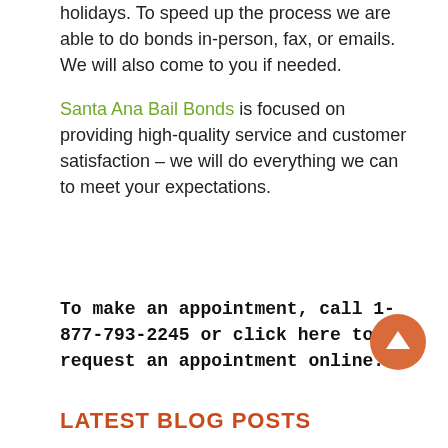holidays. To speed up the process we are able to do bonds in-person, fax, or emails. We will also come to you if needed.
Santa Ana Bail Bonds is focused on providing high-quality service and customer satisfaction – we will do everything we can to meet your expectations.
To make an appointment, call 1-877-793-2245 or click here to request an appointment online.
LATEST BLOG POSTS